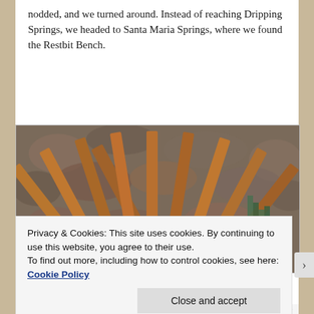nodded, and we turned around. Instead of reaching Dripping Springs, we headed to Santa Maria Springs, where we found the Restbit Bench.
[Figure (photo): A wooden Adirondack-style bench with slats forming a fan shape, with 'RESTBIT' carved or painted on the slats. Behind the bench is a stone wall, and there is a green metal object visible to the right.]
Privacy & Cookies: This site uses cookies. By continuing to use this website, you agree to their use.
To find out more, including how to control cookies, see here: Cookie Policy
Close and accept